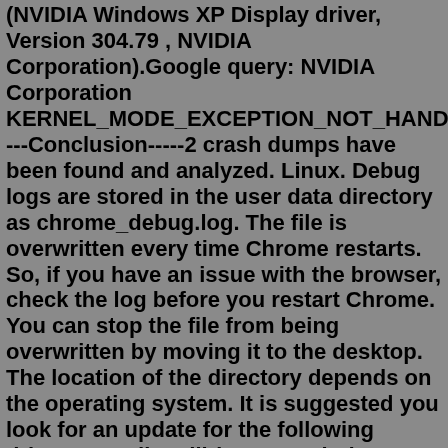(NVIDIA Windows XP Display driver, Version 304.79 , NVIDIA Corporation).Google query: NVIDIA Corporation KERNEL_MODE_EXCEPTION_NOT_HANDLED----Conclusion-----2 crash dumps have been found and analyzed. Linux. Debug logs are stored in the user data directory as chrome_debug.log. The file is overwritten every time Chrome restarts. So, if you have an issue with the browser, check the log before you restart Chrome. You can stop the file from being overwritten by moving it to the desktop. The location of the directory depends on the operating system. It is suggested you look for an update for the following driver: nv4_disp.dll (NVIDIA Windows XP Display driver, Version 304.79 , NVIDIA Corporation).Google query: NVIDIA Corporation KERNEL_MODE_EXCEPTION_NOT_HANDLED----Conclusion-----2 crash dumps have been found and analyzed. Mar 09, 2022 · Section 1: Connect to a kernel-mode WinDbg session. Section 2: kernel-mode debugging commands and techniques. Section 3: